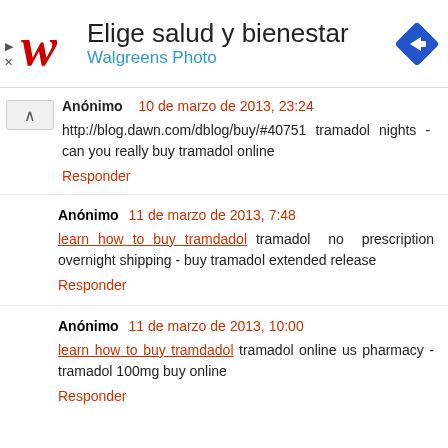[Figure (logo): Walgreens advertisement banner with logo, text 'Elige salud y bienestar' and 'Walgreens Photo', and a blue diamond-shaped arrow icon]
Anónimo 10 de marzo de 2013, 23:24
http://blog.dawn.com/dblog/buy/#40751 tramadol nights - can you really buy tramadol online
Responder
Anónimo 11 de marzo de 2013, 7:48
learn how to buy tramdadol tramadol no prescription overnight shipping - buy tramadol extended release
Responder
Anónimo 11 de marzo de 2013, 10:00
learn how to buy tramdadol tramadol online us pharmacy - tramadol 100mg buy online
Responder